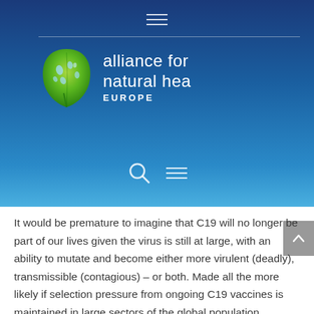[Figure (logo): Alliance for Natural Health Europe logo with green leaf icon and white text on blue gradient background, plus navigation hamburger menu icons and search icon]
It would be premature to imagine that C19 will no longer be part of our lives given the virus is still at large, with an ability to mutate and become either more virulent (deadly), transmissible (contagious) – or both. Made all the more likely if selection pressure from ongoing C19 vaccines is maintained in large sectors of the global population.